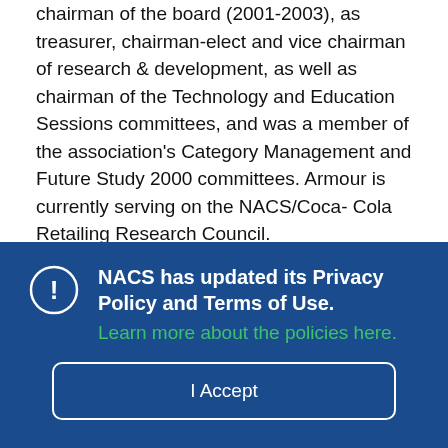chairman of the board (2001-2003), as treasurer, chairman-elect and vice chairman of research & development, as well as chairman of the Technology and Education Sessions committees, and was a member of the association's Category Management and Future Study 2000 committees. Armour is currently serving on the NACS/Coca-Cola Retailing Research Council.
Armour earned a B.A. in economics from Stanford University in 1973. A year later he earned an M.Sc. in economics from the London
NACS has updated its Privacy Policy and Terms of Use. Learn more about the policies here.
I Accept